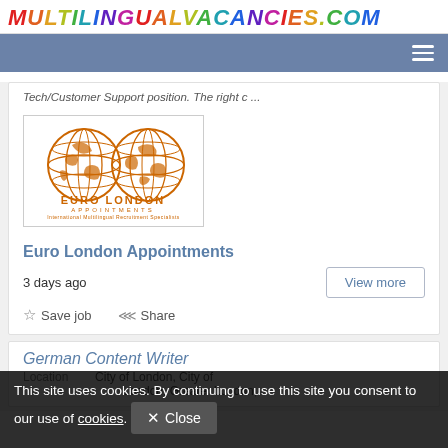MULTILINGUALVACANCIES.COM
Tech/Customer Support position. The right c ...
[Figure (logo): Euro London Appointments logo: two orange globe illustrations with 'Euro London Appointments' text below in orange]
Euro London Appointments
3 days ago
Save job  Share
German Content Writer
Location   City of London, City of London, Greater London,
This site uses cookies. By continuing to use this site you consent to our use of cookies.